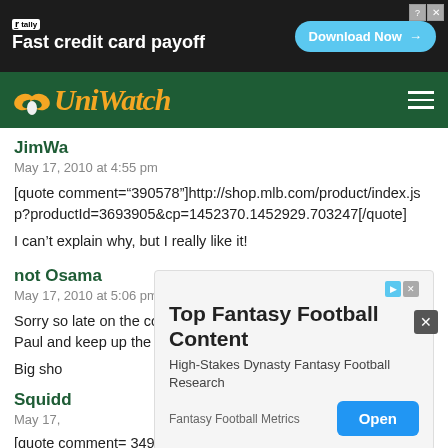[Figure (other): Tally app advertisement banner: Fast credit card payoff with Download Now button]
[Figure (logo): UniWatch website logo on dark green navigation bar with hamburger menu]
JimWa
May 17, 2010 at 4:55 pm
[quote comment="390578"]http://shop.mlb.com/product/index.jsp?productId=3693905&cp=1452370.1452929.703247[/quote]
I can't explain why, but I really like it!
not Osama
May 17, 2010 at 5:06 pm
Sorry so late on the congrats for four great years! Thank you Paul and keep up the great work!
Big sho
Squidd
May 17,
[quote comment= 3492011][/quote
[Figure (other): Top Fantasy Football Content overlay ad: High-Stakes Dynasty Fantasy Football Research, Fantasy Football Metrics, Open button]